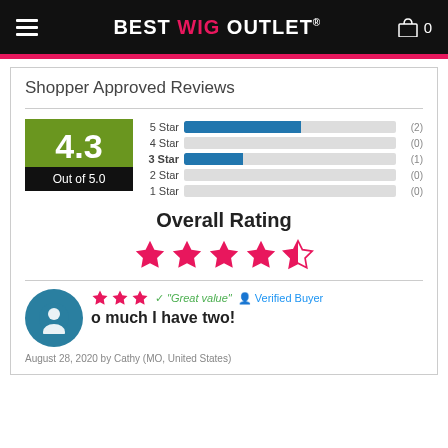BEST WIG OUTLET
Shopper Approved Reviews
[Figure (bar-chart): Star Rating Distribution]
Overall Rating
4.3 Out of 5.0
"Great value"   Verified Buyer
o much I have two!
August 28, 2020 by Cathy (MO, United States)